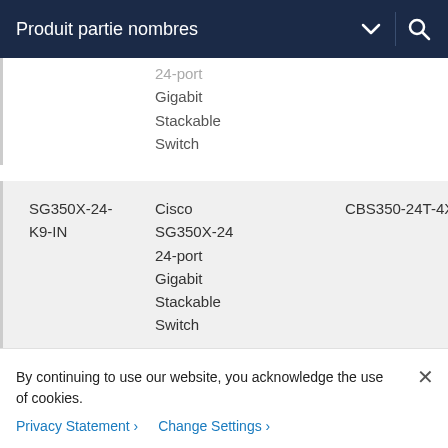Produit partie nombres
|  | 24-port Gigabit Stackable Switch |  |
| SG350X-24-K9-IN | Cisco SG350X-24 24-port Gigabit Stackable Switch | CBS350-24T-4X-IN |
By continuing to use our website, you acknowledge the use of cookies.
Privacy Statement > Change Settings >